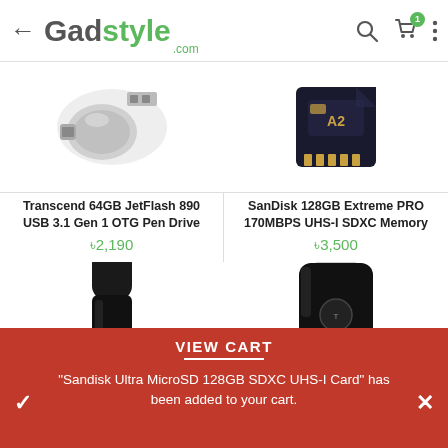← Gadstyle.com
[Figure (screenshot): Transcend 64GB JetFlash 890 USB 3.1 Gen 1 OTG Pen Drive product image - silver USB OTG drive]
Transcend 64GB JetFlash 890 USB 3.1 Gen 1 OTG Pen Drive
৳2,190
[Figure (screenshot): SanDisk 128GB Extreme PRO 170MBPS UHS-I SDXC Memory Card product image - black microSD card with A2 label]
SanDisk 128GB Extreme PRO 170MBPS UHS-I SDXC Memory
৳3,500
[Figure (screenshot): Transcend 128GB black USB pen drive - slim vertical USB drive]
[Figure (screenshot): Transcend 256GB black and blue USB pen drive - retractable USB drive with blue slider]
VIEW CART
"Sandisk Ultra MicroSD 128GB SDXC UHS-I Card" has been added to your cart.